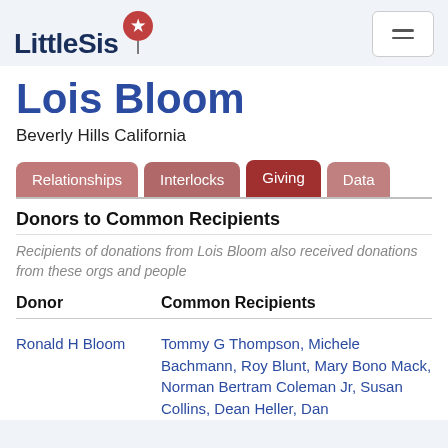LittleSis
Lois Bloom
Beverly Hills California
Donors to Common Recipients
Recipients of donations from Lois Bloom also received donations from these orgs and people
| Donor | Common Recipients |
| --- | --- |
| Ronald H Bloom | Tommy G Thompson, Michele Bachmann, Roy Blunt, Mary Bono Mack, Norman Bertram Coleman Jr, Susan Collins, Dean Heller, Dan |